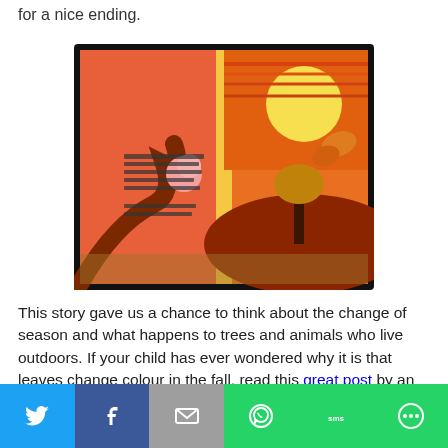for a nice ending.
[Figure (photo): Open children's book showing colorful illustrated pages with warm sunset tones, featuring cartoon animals (pig and butterfly) among trees with autumn leaves]
This story gave us a chance to think about the change of season and what happens to trees and animals who live outdoors. If your child has ever wondered why it is that leaves change colour in the fall, read this great post by an expert who
[Figure (infographic): Social media sharing bar with Twitter, Facebook, Email, WhatsApp, SMS, and More buttons]